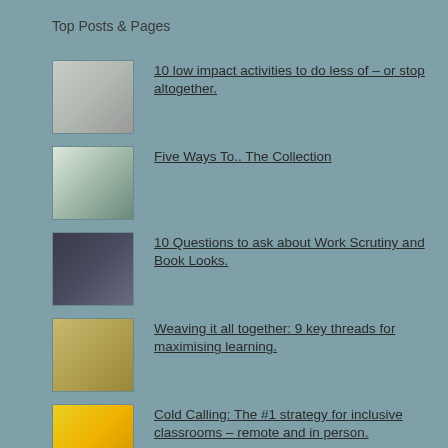Top Posts & Pages
10 low impact activities to do less of – or stop altogether.
Five Ways To.. The Collection
10 Questions to ask about Work Scrutiny and Book Looks.
Weaving it all together: 9 key threads for maximising learning.
Cold Calling: The #1 strategy for inclusive classrooms – remote and in person.
Deconstructing my lesson observation thought processes
Curriculum Masterclasses. A free sample from the series. CPD